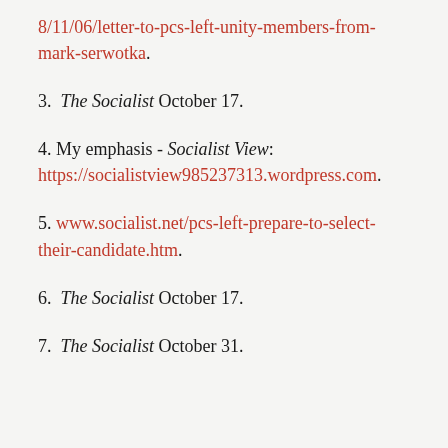8/11/06/letter-to-pcs-left-unity-members-from-mark-serwotka.
3. The Socialist October 17.
4. My emphasis - Socialist View: https://socialistview985237313.wordpress.com.
5. www.socialist.net/pcs-left-prepare-to-select-their-candidate.htm.
6. The Socialist October 17.
7. The Socialist October 31.